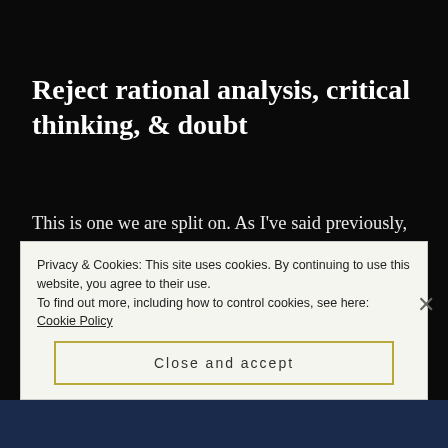Reject rational analysis, critical thinking, & doubt
This is one we are split on. As I've said previously, I've had a lot of healthy, respectful, rational debates with members of the trans community. You'll find one faction that celebrates all of the above, and another that rejects them.
Privacy & Cookies: This site uses cookies. By continuing to use this website, you agree to their use. To find out more, including how to control cookies, see here: Cookie Policy
Close and accept